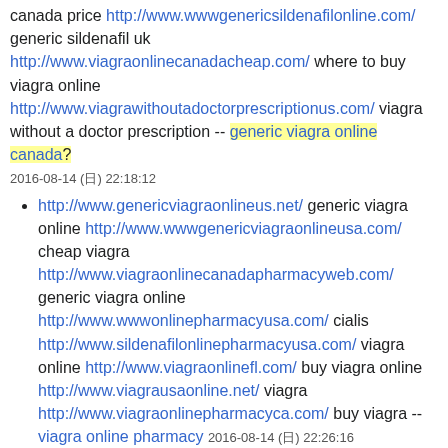canada price http://www.wwwgenericsildenafilonline.com/ generic sildenafil uk http://www.viagraonlinecanadacheap.com/ where to buy viagra online http://www.viagrawithoutadoctorprescriptionus.com/ viagra without a doctor prescription -- generic viagra online canada? 2016-08-14 (日) 22:18:12
http://www.genericviagraonlineus.net/ generic viagra online http://www.wwwgenericviagraonlineusa.com/ cheap viagra http://www.viagraonlinecanadapharmacyweb.com/ generic viagra online http://www.wwwonlinepharmacyusa.com/ cialis http://www.sildenafilonlinepharmacyusa.com/ viagra online http://www.viagraonlinefl.com/ buy viagra online http://www.viagrausaonline.net/ viagra http://www.viagraonlinepharmacyca.com/ buy viagra -- viagra online pharmacy 2016-08-14 (日) 22:26:16
http://www.cheapviagraonlinecanada.com/ viagra http://www.cheapviagracanadaonline.com/ viagra samples http://www.genericviagraonlinecanada.net/ order generic viagra http://www.genericviagraonlinecw.com/ cheap viagra online http://www.viagravstadalafil.com/ viagra vs cialis comparison http://www.viagraonlinepharmacyweb.com/ viagra online uk pharmacy http://www.genericsildenafilusa.net/ buy viagra generic